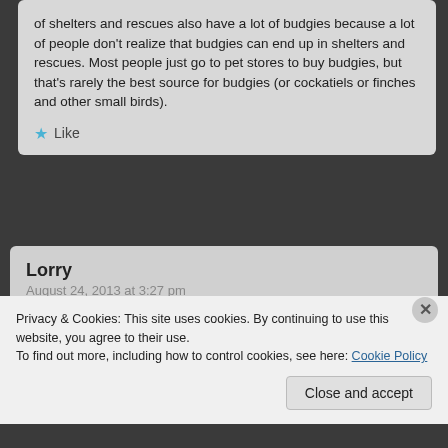of shelters and rescues also have a lot of budgies because a lot of people don't realize that budgies can end up in shelters and rescues. Most people just go to pet stores to buy budgies, but that's rarely the best source for budgies (or cockatiels or finches and other small birds).
★ Like
Lorry
August 24, 2013 at 3:27 pm
I am curious Patricia. Do you ever see Adoption and
Privacy & Cookies: This site uses cookies. By continuing to use this website, you agree to their use.
To find out more, including how to control cookies, see here: Cookie Policy
Close and accept